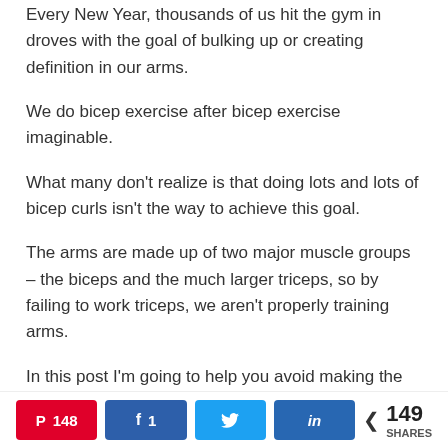Every New Year, thousands of us hit the gym in droves with the goal of bulking up or creating definition in our arms.
We do bicep exercise after bicep exercise imaginable.
What many don't realize is that doing lots and lots of bicep curls isn't the way to achieve this goal.
The arms are made up of two major muscle groups – the biceps and the much larger triceps, so by failing to work triceps, we aren't properly training arms.
In this post I'm going to help you avoid making the
Pinterest 148 | Facebook 1 | Twitter | LinkedIn | < 149 SHARES